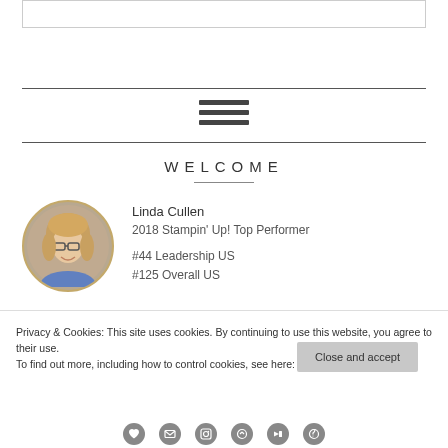WELCOME
Linda Cullen
2018 Stampin' Up! Top Performer

#44 Leadership US
#125 Overall US
Privacy & Cookies: This site uses cookies. By continuing to use this website, you agree to their use.
To find out more, including how to control cookies, see here: Cookie Policy
Close and accept